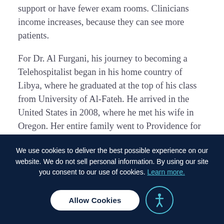support or have fewer exam rooms. Clinicians income increases, because they can see more patients.
For Dr. Al Furgani, his journey to becoming a Telehospitalist began in his home country of Libya, where he graduated at the top of his class from University of Al-Fateh. He arrived in the United States in 2008, where he met his wife in Oregon. Her entire family went to Providence for healthcare and spoke highly of its excellent providers. When he moved his young family to the Midwest, Dr. Al Furgani worked for various
We use cookies to deliver the best possible experience on our website. We do not sell personal information. By using our site you consent to our use of cookies. Learn more.